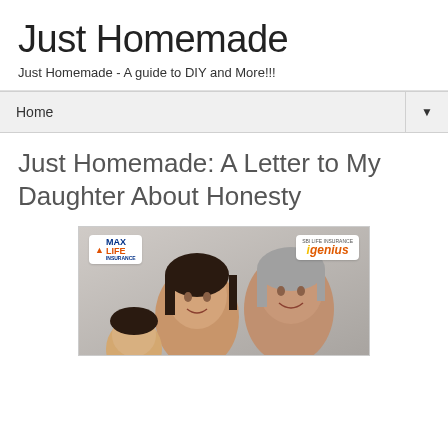Just Homemade
Just Homemade - A guide to DIY and More!!!
Home
Just Homemade: A Letter to My Daughter About Honesty
[Figure (photo): Promotional photo showing two or three women smiling together, with Max Life Insurance and iGenius logos/badges overlaid on the image corners.]